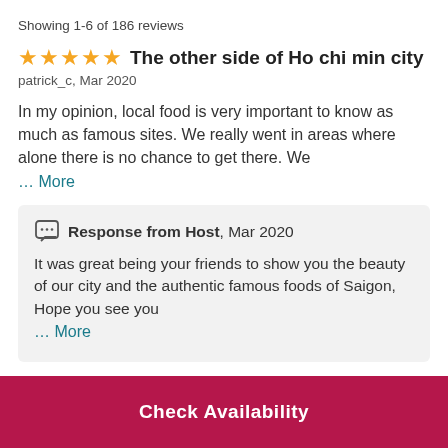Showing 1-6 of 186 reviews
The other side of Ho chi min city
patrick_c, Mar 2020
In my opinion, local food is very important to know as much as famous sites. We really went in areas where alone there is no chance to get there. We … More
Response from Host, Mar 2020
It was great being your friends to show you the beauty of our city and the authentic famous foods of Saigon, Hope you see you … More